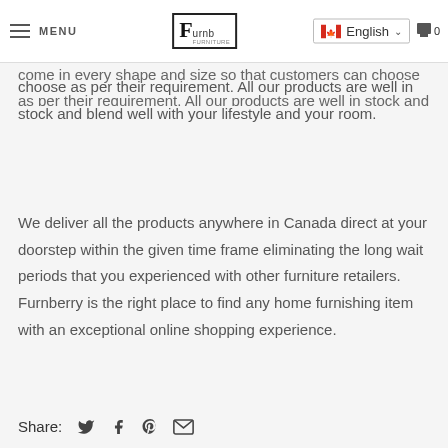MENU | Furnberry Logo | English | 0
come in every shape and size so that customers can choose as per their requirement. All our products are well in stock and blend well with your lifestyle and your room.
We deliver all the products anywhere in Canada direct at your doorstep within the given time frame eliminating the long wait periods that you experienced with other furniture retailers. Furnberry is the right place to find any home furnishing item with an exceptional online shopping experience.
Share: